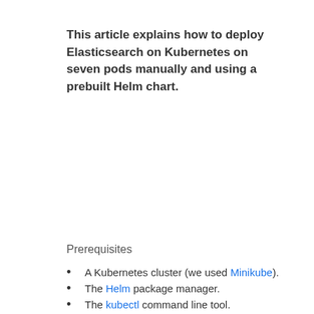This article explains how to deploy Elasticsearch on Kubernetes on seven pods manually and using a prebuilt Helm chart.
Prerequisites
A Kubernetes cluster (we used Minikube).
The Helm package manager.
The kubectl command line tool.
Access to the command line or terminal.